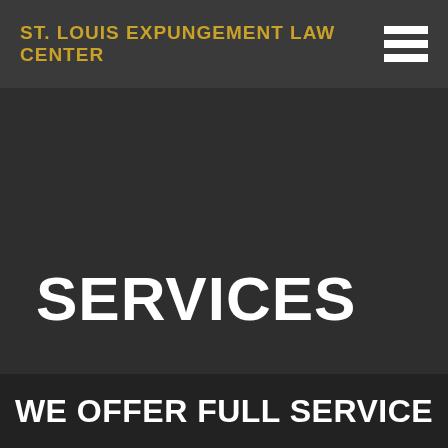ST. LOUIS EXPUNGEMENT LAW CENTER
SERVICES
WE OFFER FULL SERVICE